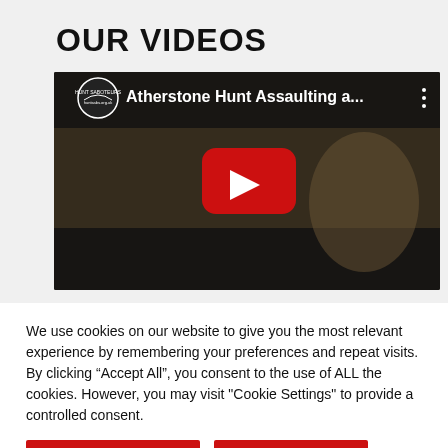OUR VIDEOS
[Figure (screenshot): YouTube video thumbnail showing title 'Atherstone Hunt Assaulting a...' with red YouTube play button overlay, circular channel logo top-left, three-dot menu top-right. Scene shows people outdoors in winter/autumn setting.]
We use cookies on our website to give you the most relevant experience by remembering your preferences and repeat visits. By clicking “Accept All”, you consent to the use of ALL the cookies. However, you may visit "Cookie Settings" to provide a controlled consent.
Cookie Settings
Accept All